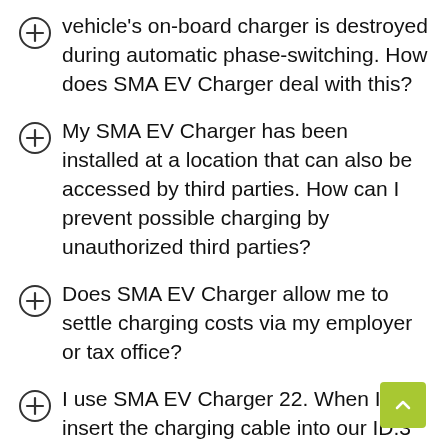People always think that the electric vehicle's on-board charger is destroyed during automatic phase-switching. How does SMA EV Charger deal with this?
My SMA EV Charger has been installed at a location that can also be accessed by third parties. How can I prevent possible charging by unauthorized third parties?
Does SMA EV Charger allow me to settle charging costs via my employer or tax office?
I use SMA EV Charger 22. When I insert the charging cable into our ID.3 but do not want charging to start immediately, charging does not start at all. The wallbox seems to “fall asleep” in the process.